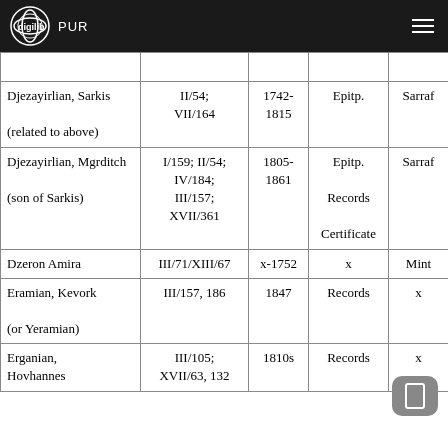digilib RUR
| Name | Reference | Date | Source | Role |
| --- | --- | --- | --- | --- |
|  |  |  |  |  |
| Djezayirlian, Sarkis

(related to above) | II/54; VII/164 | 1742-1815 | Epitp. | Sarraf |
| Djezayirlian, Mgrditch

(son of Sarkis) | I/159; II/54; IV/184; III/157; XVII/361 | 1805-1861 | Epitp.

Records

Certificate | Sarraf |
| Dzeron Amira | III/71/XIII/67 | x-1752 | x | Mint |
| Eramian, Kevork

(or Yeramian) | III/157, 186 | 1847 | Records | x |
| Erganian, Hovhannes | III/105; XVII/63, 132 | 1810s | Records | x |